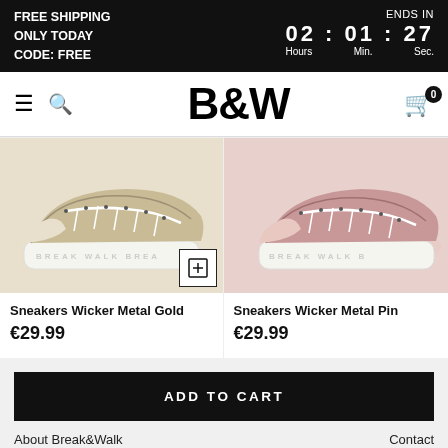FREE SHIPPING
ONLY TODAY
CODE: FREE
ENDS IN 02 : 01 : 27 Hours Min. Sec.
B&W
[Figure (photo): Sneakers Wicker Metal Gold — a gold/beige canvas sneaker with white platform sole reading BREAK WALK BREAK]
Sneakers Wicker Metal Gold
€29.99
[Figure (photo): Sneakers Wicker Metal Pink — a pink canvas sneaker with white platform sole reading BREAK WALK]
Sneakers Wicker Metal Pin
€29.99
ADD TO CART
About Break&Walk
Contact